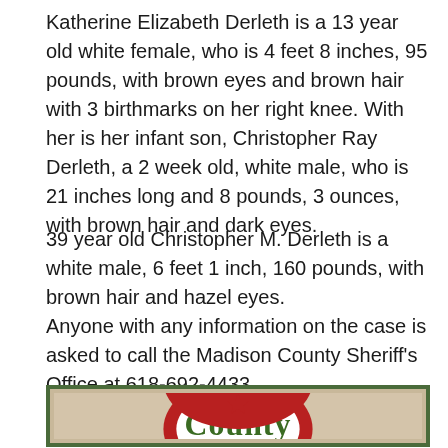Katherine Elizabeth Derleth is a 13 year old white female, who is 4 feet 8 inches, 95 pounds, with brown eyes and brown hair with 3 birthmarks on her right knee. With her is her infant son, Christopher Ray Derleth, a 2 week old, white male, who is 21 inches long and 8 pounds, 3 ounces, with brown hair and dark eyes.
39 year old Christopher M. Derleth is a white male, 6 feet 1 inch, 160 pounds, with brown hair and hazel eyes.
Anyone with any information on the case is asked to call the Madison County Sheriff's Office at 618-692-4433.
[Figure (logo): Madison County logo with green border, tan/beige background, red arc and green 'County' text in decorative font]